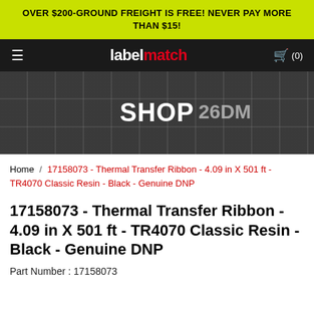OVER $200-GROUND FREIGHT IS FREE! NEVER PAY MORE THAN $15!
[Figure (screenshot): LabelMatch website navigation bar with hamburger menu, logo (labelmatch in white/red), and cart icon showing (0) items]
[Figure (photo): Shop hero banner with blurred warehouse/product background and large white bold SHOP text overlay, with '26DM' visible]
Home / 17158073 - Thermal Transfer Ribbon - 4.09 in X 501 ft - TR4070 Classic Resin - Black - Genuine DNP
17158073 - Thermal Transfer Ribbon - 4.09 in X 501 ft - TR4070 Classic Resin - Black - Genuine DNP
Part Number : 17158073